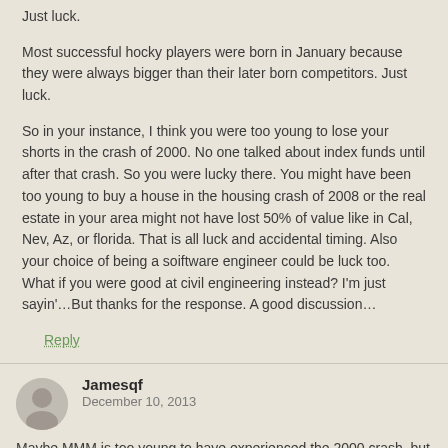Just luck.
Most successful hocky players were born in January because they were always bigger than their later born competitors. Just luck.
So in your instance, I think you were too young to lose your shorts in the crash of 2000. No one talked about index funds until after that crash. So you were lucky there. You might have been too young to buy a house in the housing crash of 2008 or the real estate in your area might not have lost 50% of value like in Cal, Nev, Az, or florida. That is all luck and accidental timing. Also your choice of being a soiftware engineer could be luck too. What if you were good at civil engineering instead? I'm just sayin'…But thanks for the response. A good discussion…
Reply
Jamesqf
December 10, 2013
Maybe MMM is too young to have experienced the 2000 crash, but I'm not. In fact, I got